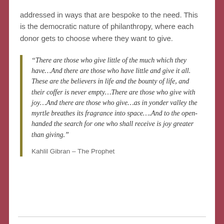addressed in ways that are bespoke to the need. This is the democratic nature of philanthropy, where each donor gets to choose where they want to give.
“There are those who give little of the much which they have…And there are those who have little and give it all. These are the believers in life and the bounty of life, and their coffer is never empty…There are those who give with joy…And there are those who give…as in yonder valley the myrtle breathes its fragrance into space….And to the open-handed the search for one who shall receive is joy greater than giving.”
Kahlil Gibran – The Prophet